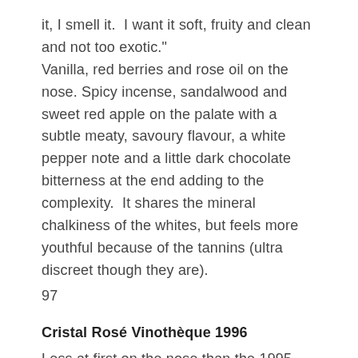it, I smell it. I want it soft, fruity and clean and not too exotic."
Vanilla, red berries and rose oil on the nose. Spicy incense, sandalwood and sweet red apple on the palate with a subtle meaty, savoury flavour, a white pepper note and a little dark chocolate bitterness at the end adding to the complexity. It shares the mineral chalkiness of the whites, but feels more youthful because of the tannins (ultra discreet though they are).
97
Cristal Rosé Vinothèque 1996
Less at first on the nose than the 1995 Rosé Vinothèque, but richer, tighter and more concentrated on the palate, opening up in the glass, with crème fraiche, orange, orange peel and red apple, a texture that is both chalky and